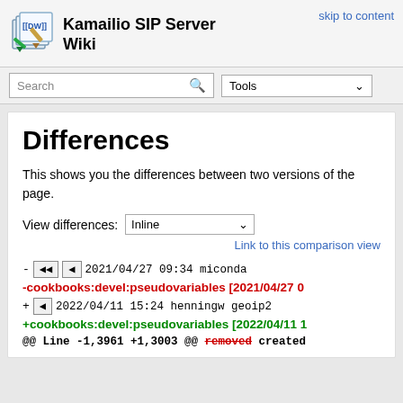Kamailio SIP Server Wiki
skip to content
Search | Tools
Differences
This shows you the differences between two versions of the page.
View differences: Inline
Link to this comparison view
- << < 2021/04/27 09:34 miconda
-cookbooks:devel:pseudovariables [2021/04/27 0...
+ < 2022/04/11 15:24 henningw geoip2
+cookbooks:devel:pseudovariables [2022/04/11 1...
@@ Line -1,3961 +1,3003 @@ removed created